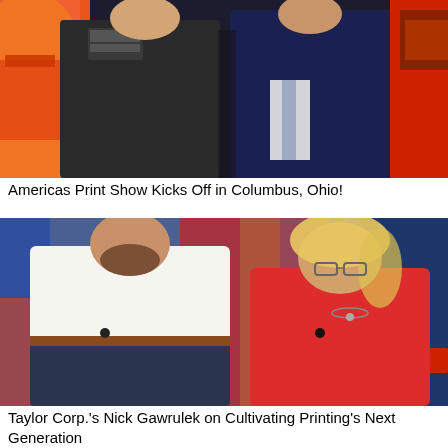[Figure (photo): Two men sitting together at Americas Print Show in Columbus, Ohio. One wearing a black polo shirt with a logo, the other in a dark suit jacket. Colorful background visible.]
Americas Print Show Kicks Off in Columbus, Ohio!
[Figure (photo): A young man with a beard wearing a white dress shirt and a woman with blonde hair wearing a red sleeveless top, both smiling in front of a colorful Times Square-style backdrop with LG and other signage.]
Taylor Corp.'s Nick Gawrulek on Cultivating Printing's Next Generation